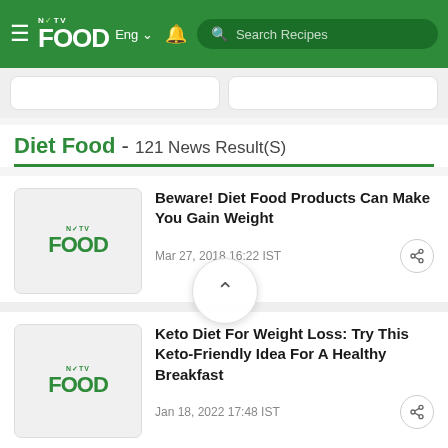NDTV Food - Eng - Search Recipes
Diet Food - 121 News Result(S)
[Figure (screenshot): NDTV Food logo placeholder thumbnail for article 1]
Beware! Diet Food Products Can Make You Gain Weight
Mar 27, 2018 16:22 IST
[Figure (screenshot): NDTV Food logo placeholder thumbnail for article 2]
Keto Diet For Weight Loss: Try This Keto-Friendly Idea For A Healthy Breakfast
Jan 18, 2022 17:48 IST